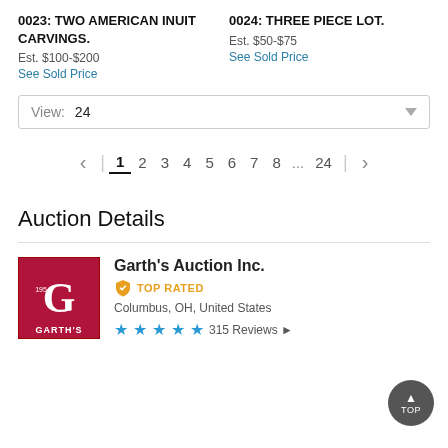0023: TWO AMERICAN INUIT CARVINGS.
Est. $100-$200
See Sold Price
0024: THREE PIECE LOT.
Est. $50-$75
See Sold Price
View: 24
< | 1 2 3 4 5 6 7 8 ... 24 | >
Auction Details
Garth's Auction Inc.
TOP RATED
Columbus, OH, United States
315 Reviews